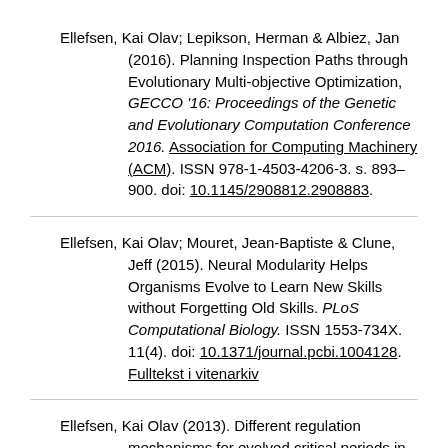Ellefsen, Kai Olav; Lepikson, Herman & Albiez, Jan (2016). Planning Inspection Paths through Evolutionary Multi-objective Optimization, GECCO '16: Proceedings of the Genetic and Evolutionary Computation Conference 2016. Association for Computing Machinery (ACM). ISSN 978-1-4503-4206-3. s. 893–900. doi: 10.1145/2908812.2908883.
Ellefsen, Kai Olav; Mouret, Jean-Baptiste & Clune, Jeff (2015). Neural Modularity Helps Organisms Evolve to Learn New Skills without Forgetting Old Skills. PLoS Computational Biology. ISSN 1553-734X. 11(4). doi: 10.1371/journal.pcbi.1004128. Fulltekst i vitenarkiv
Ellefsen, Kai Olav (2013). Different regulation mechanisms for evolved critical periods in learning. I Coello Coello,